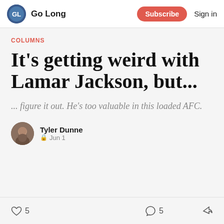Go Long  Subscribe  Sign in
COLUMNS
It's getting weird with Lamar Jackson, but...
... figure it out. He's too valuable in this loaded AFC.
Tyler Dunne
🔒 Jun 1
♡ 5   💬 5   ↗